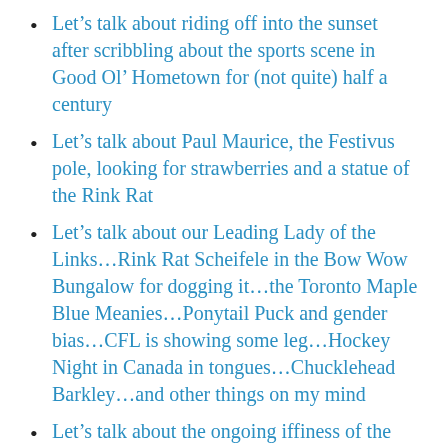Let’s talk about riding off into the sunset after scribbling about the sports scene in Good Ol’ Hometown for (not quite) half a century
Let’s talk about Paul Maurice, the Festivus pole, looking for strawberries and a statue of the Rink Rat
Let’s talk about our Leading Lady of the Links…Rink Rat Scheifele in the Bow Wow Bungalow for dogging it…the Toronto Maple Blue Meanies…Ponytail Puck and gender bias…CFL is showing some leg…Hockey Night in Canada in tongues…Chucklehead Barkley…and other things on my mind
Let’s talk about the ongoing iffiness of the Canadian Football League
Let’s talk about (text cut off)